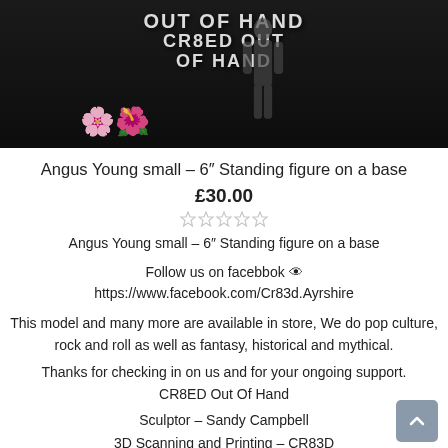[Figure (photo): Dark product photo showing illuminated graffiti-style text and colorful flower decorations against a black background with a figure silhouette]
Angus Young small – 6" Standing figure on a base
£30.00
[Figure (other): Five empty star rating icons]
Angus Young small – 6" Standing figure on a base
Follow us on facebbok 🖙
https://www.facebook.com/Cr83d.Ayrshire
This model and many more are available in store, We do pop culture, rock and roll as well as fantasy, historical and mythical.
Thanks for checking in on us and for your ongoing support.
CR8ED Out Of Hand
Sculptor – Sandy Campbell
3D Scanning and Printing – CR83D